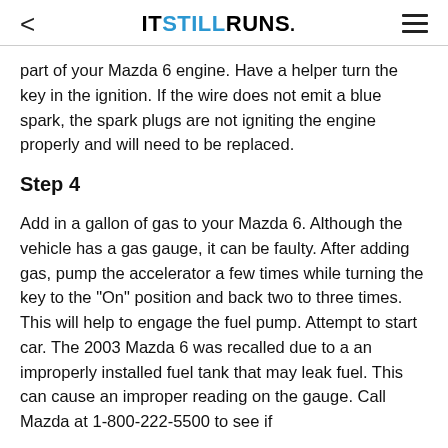< ITSTILLRUNS.
part of your Mazda 6 engine. Have a helper turn the key in the ignition. If the wire does not emit a blue spark, the spark plugs are not igniting the engine properly and will need to be replaced.
Step 4
Add in a gallon of gas to your Mazda 6. Although the vehicle has a gas gauge, it can be faulty. After adding gas, pump the accelerator a few times while turning the key to the "On" position and back two to three times. This will help to engage the fuel pump. Attempt to start car. The 2003 Mazda 6 was recalled due to a an improperly installed fuel tank that may leak fuel. This can cause an improper reading on the gauge. Call Mazda at 1-800-222-5500 to see if